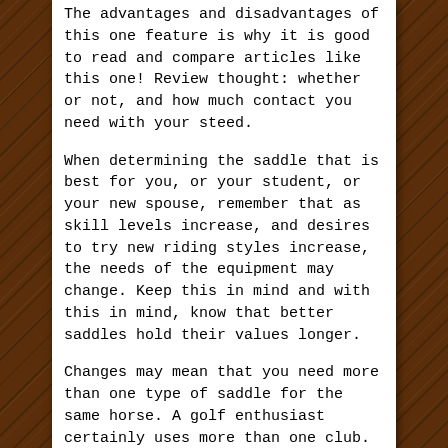The advantages and disadvantages of this one feature is why it is good to read and compare articles like this one! Review thought: whether or not, and how much contact you need with your steed.
When determining the saddle that is best for you, or your student, or your new spouse, remember that as skill levels increase, and desires to try new riding styles increase, the needs of the equipment may change. Keep this in mind and with this in mind, know that better saddles hold their values longer.
Changes may mean that you need more than one type of saddle for the same horse. A golf enthusiast certainly uses more than one club. You will enjoy the art and the entertainment of horsemanship more fully, with the proper equipment. Make choices on immediate needs. Buy the best that you can afford. It seems like more riders tend to collect saddles, rather than trade them. Even so, the trade in allowances of better saddles are much more than cheaper ones. As dealers, the percentage of profit built into the sales price lessens as the price of the saddle increases. (unless you account for special